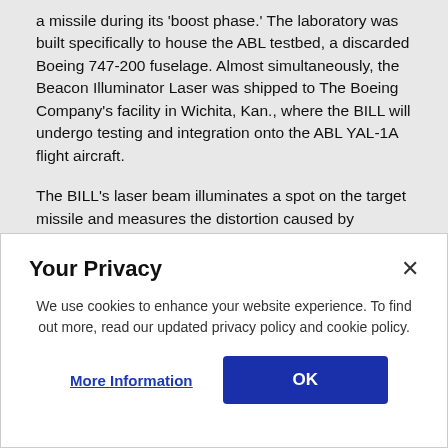a missile during its 'boost phase.' The laboratory was built specifically to house the ABL testbed, a discarded Boeing 747-200 fuselage. Almost simultaneously, the Beacon Illuminator Laser was shipped to The Boeing Company's facility in Wichita, Kan., where the BILL will undergo testing and integration onto the ABL YAL-1A flight aircraft.
The BILL's laser beam illuminates a spot on the target missile and measures the distortion caused by turbulence in the air. This information enables a deformable mirror to make compensating corrections to ABL's megawatt-class high energy laser beam. Lockheed Martin will integrate the BILL onto Tracking Illuminator (TIL) within the...
[Figure (screenshot): Cookie consent modal dialog with title 'Your Privacy', close button (×), body text about cookie usage, 'More Information' link button, and 'OK' filled button.]